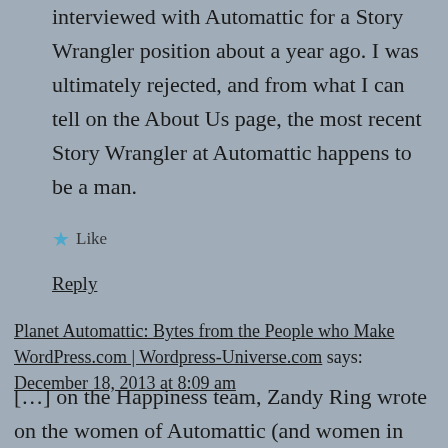interviewed with Automattic for a Story Wrangler position about a year ago. I was ultimately rejected, and from what I can tell on the About Us page, the most recent Story Wrangler at Automattic happens to be a man.
★ Like
Reply
Planet Automattic: Bytes from the People who Make WordPress.com | Wordpress-Universe.com says: December 18, 2013 at 8:09 am
[…] on the Happiness team, Zandy Ring wrote on the women of Automattic (and women in technology more broadly), and her own path